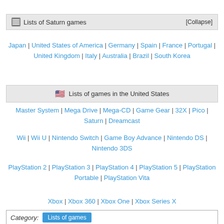Lists of Saturn games  [Collapse]
Japan | United States of America | Germany | Spain | France | Portugal | United Kingdom | Italy | Australia | Brazil | South Korea
🇺🇸 Lists of games in the United States
Master System | Mega Drive | Mega-CD | Game Gear | 32X | Pico | Saturn | Dreamcast
Wii | Wii U | Nintendo Switch | Game Boy Advance | Nintendo DS | Nintendo 3DS
PlayStation 2 | PlayStation 3 | PlayStation 4 | PlayStation 5 | PlayStation Portable | PlayStation Vita
Xbox | Xbox 360 | Xbox One | Xbox Series X
Windows PC
Category:  Lists of games